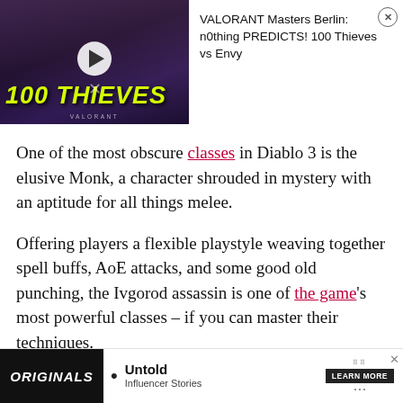[Figure (screenshot): Video thumbnail showing a person in a 100 Thieves jersey with yellow italic text '100 THIEVES' overlay, and a play button in the center. Purple/black background with VALORANT logo at the bottom.]
VALORANT Masters Berlin: n0thing PREDICTS! 100 Thieves vs Envy
One of the most obscure classes in Diablo 3 is the elusive Monk, a character shrouded in mystery with an aptitude for all things melee.
Offering players a flexible playstyle weaving together spell buffs, AoE attacks, and some good old punching, the Ivgorod assassin is one of the game's most powerful classes – if you can master their techniques.
So, here's why you should pick the Monk going into Diablo [link] r best builds
[Figure (screenshot): Advertisement bar at bottom showing Originals logo, Untold Influencer Stories text, and LEARN MORE button with X close button.]